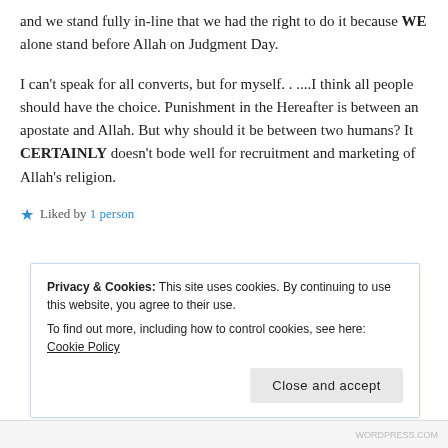and we stand fully in-line that we had the right to do it because WE alone stand before Allah on Judgment Day.
I can't speak for all converts, but for myself. . ....I think all people should have the choice. Punishment in the Hereafter is between an apostate and Allah. But why should it be between two humans? It CERTAINLY doesn't bode well for recruitment and marketing of Allah's religion.
★ Liked by 1 person
Privacy & Cookies: This site uses cookies. By continuing to use this website, you agree to their use. To find out more, including how to control cookies, see here: Cookie Policy
Close and accept